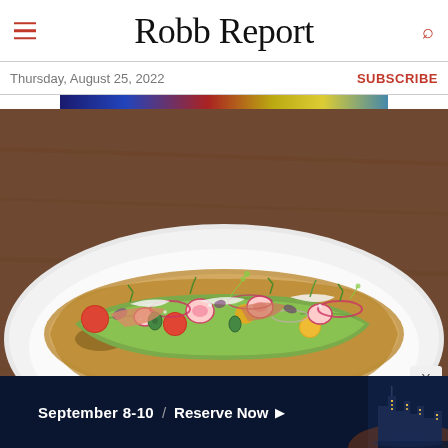Robb Report
Thursday, August 25, 2022
SUBSCRIBE
[Figure (photo): Avocado toast on a large white plate with colorful toppings including cherry tomatoes, sliced radishes, red onion, jalapeño slices, herbs, and microgreens on a wooden table background]
DINING
[Figure (infographic): Advertisement banner reading: September 8-10 / Reserve Now with a city skyline on a dark blue background]